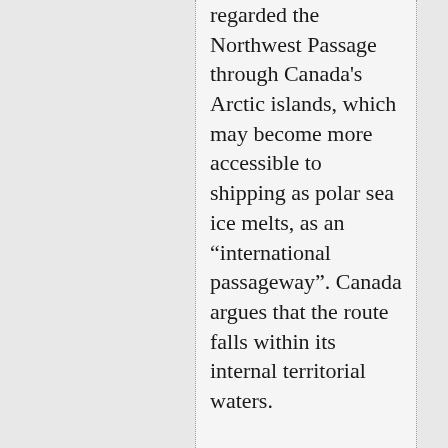regarded the Northwest Passage through Canada's Arctic islands, which may become more accessible to shipping as polar sea ice melts, as an "international passageway". Canada argues that the route falls within its internal territorial waters.

But after